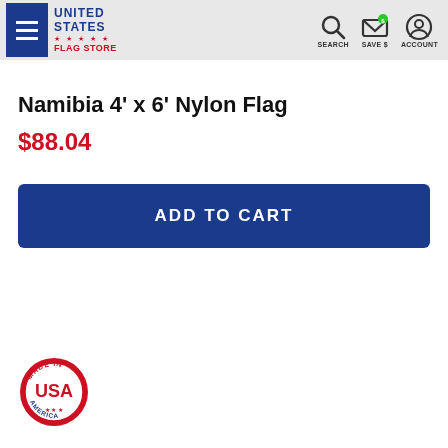[Figure (logo): United States Flag Store logo with hamburger menu and navigation icons (Search, Save $, Account)]
Namibia 4' x 6' Nylon Flag
$88.04
ADD TO CART
[Figure (logo): Made in USA America circular badge/seal]